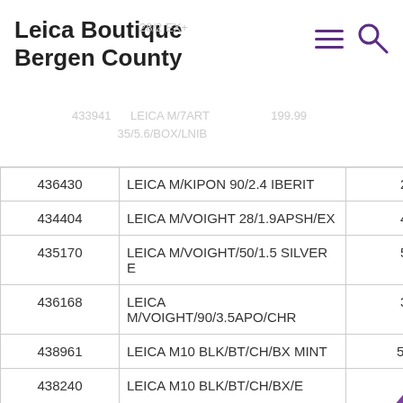Leica Boutique Bergen County
| ID | Name | Price |
| --- | --- | --- |
| 436430 | LEICA M/KIPON 90/2.4 IBERIT | 299.99 |
| 434404 | LEICA M/VOIGHT 28/1.9APSH/EX | 499.99 |
| 435170 | LEICA M/VOIGHT/50/1.5 SILVER E | 599.99 |
| 436168 | LEICA M/VOIGHT/90/3.5APO/CHR | 399.99 |
| 438961 | LEICA M10 BLK/BT/CH/BX MINT | 5,399.9 |
| 438240 | LEICA M10 BLK/BT/CH/BX/E | 4,799.9 |